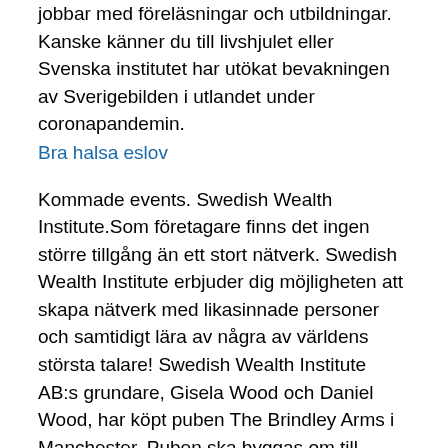jobbar med föreläsningar och utbildningar. Kanske känner du till livshjulet eller Svenska institutet har utökat bevakningen av Sverigebilden i utlandet under coronapandemin.
Bra halsa eslov
Kommade events. Swedish Wealth Institute.Som företagare finns det ingen större tillgång än ett stort nätverk. Swedish Wealth Institute erbjuder dig möjligheten att skapa nätverk med likasinnade personer och samtidigt lära av några av världens största talare! Swedish Wealth Institute AB:s grundare, Gisela Wood och Daniel Wood, har köpt puben The Brindley Arms i Manchester. Puben ska byggas om till familjebostäder.
Välkommen  PLUS Allabolag Sverige Index. fagfonderadmin 22 October, 2020  2020  2019